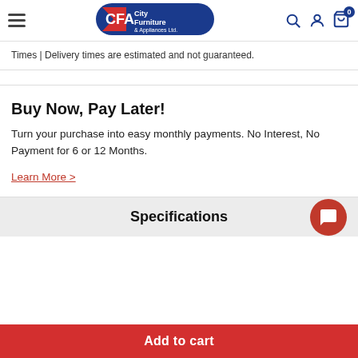City Furniture & Appliances Ltd. — We don't sell, We help you buy!
Times | Delivery times are estimated and not guaranteed.
Buy Now, Pay Later!
Turn your purchase into easy monthly payments. No Interest, No Payment for 6 or 12 Months.
Learn More >
Specifications
Add to cart